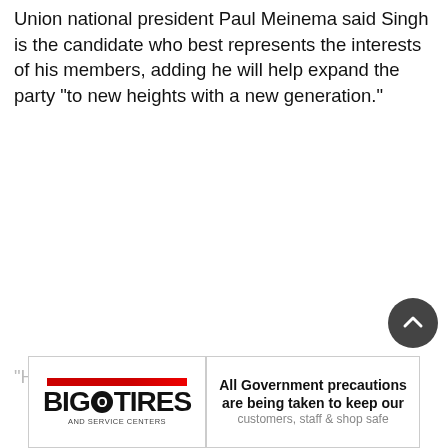Union national president Paul Meinema said Singh is the candidate who best represents the interests of his members, adding he will help expand the party "to new heights with a new generation."
"H... [partial text, truncated]
[Figure (other): Big O Tires and Service Centers advertisement banner. Left side shows the Big O Tires logo with red bar and stylized text. Right side reads: 'All Government precautions are being taken to keep our customers, staff & shop safe']